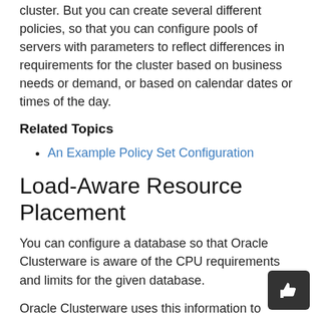cluster. But you can create several different policies, so that you can configure pools of servers with parameters to reflect differences in requirements for the cluster based on business needs or demand, or based on calendar dates or times of the day.
Related Topics
An Example Policy Set Configuration
Load-Aware Resource Placement
You can configure a database so that Oracle Clusterware is aware of the CPU requirements and limits for the given database.
Oracle Clusterware uses this information to place the database resource only on servers that have a sufficient number of CPUs, amount of memory, or both.
If you have configured resources with CPU or memory requirements in Oracle Clusterware, then Oracle